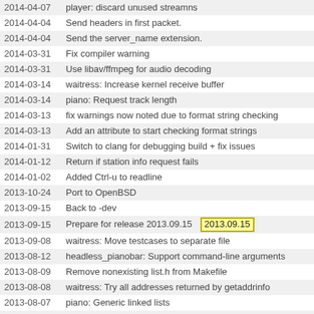2014-04-07  player: discard unused streamns
2014-04-04  Send headers in first packet.
2014-04-04  Send the server_name extension.
2014-03-31  Fix compiler warning
2014-03-31  Use libav/ffmpeg for audio decoding
2014-03-14  waitress: Increase kernel receive buffer
2014-03-14  piano: Request track length
2014-03-13  fix warnings now noted due to format string checking
2014-03-13  Add an attribute to start checking format strings
2014-01-31  Switch to clang for debugging build + fix issues
2014-01-12  Return if station info request fails
2014-01-02  Added Ctrl-u to readline
2013-10-24  Port to OpenBSD
2013-09-15  Back to -dev
2013-09-15  Prepare for release 2013.09.15  [tag: 2013.09.15]
2013-09-08  waitress: Move testcases to separate file
2013-08-12  headless_pianobar: Support command-line arguments
2013-08-09  Remove nonexisting list.h from Makefile
2013-08-08  waitress: Try all addresses returned by getaddrinfo
2013-08-07  piano: Generic linked lists
2013-07-30  Added support for EOF and ^D and environment variables
2013-07-29  Fix display of song lists with more than 999 items
2013-07-28  piano: Replace station with same id
2013-07-07  Add keyboard shortcut to reset volume
2013-07-02  piano: Check for libgcrypt errors
2013-06-08  Fix build in FreeBSD